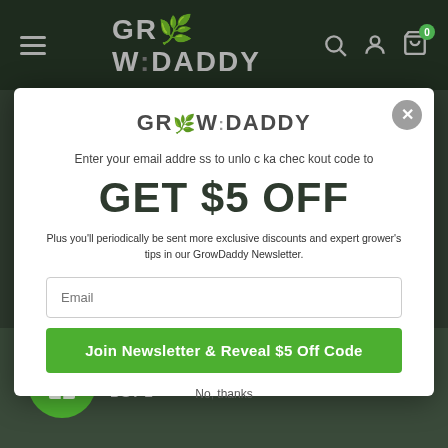GROWDADDY
[Figure (screenshot): GrowDaddy e-commerce website header with hamburger menu, logo, search, account, and cart icons on dark background]
GROWDADDY
Enter your email address to unlock a checkout code to
GET $5 OFF
Plus you'll periodically be sent more exclusive discounts and expert grower's tips in our GrowDaddy Newsletter.
Email
Join Newsletter & Reveal $5 Off Code
No, thanks
Viikter Hydro-X Temperature Device Station DST-1